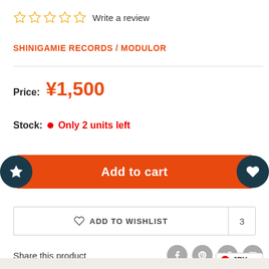☆ ☆ ☆ ☆ ☆ Write a review
SHINIGAMIE RECORDS / MODULOR
Price: ¥1,500
Stock: Only 2 units left
Add to cart
ADD TO WISHLIST  3
Share this product
JPY